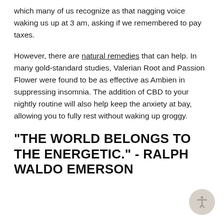which many of us recognize as that nagging voice waking us up at 3 am, asking if we remembered to pay taxes.
However, there are natural remedies that can help. In many gold-standard studies, Valerian Root and Passion Flower were found to be as effective as Ambien in suppressing insomnia. The addition of CBD to your nightly routine will also help keep the anxiety at bay, allowing you to fully rest without waking up groggy.
"THE WORLD BELONGS TO THE ENERGETIC." - RALPH WALDO EMERSON